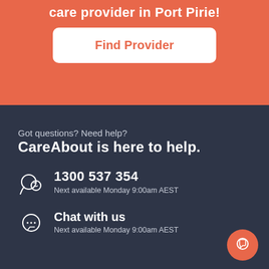care provider in Port Pirie!
Find Provider
Got questions? Need help?
CareAbout is here to help.
1300 537 354
Next available Monday 9:00am AEST
Chat with us
Next available Monday 9:00am AEST